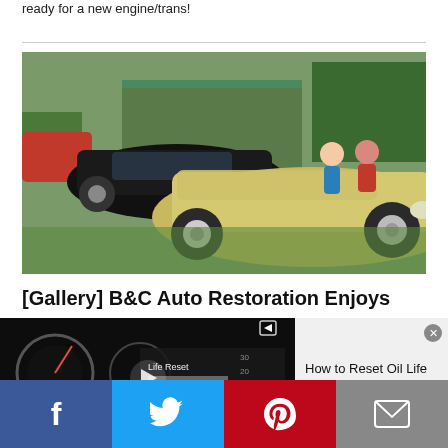ready for a new engine/trans!
[Figure (photo): Classic muscle cars parked on grass at an auto show. A white Pontiac Firebird/Trans Am is in the foreground, with a black Trans Am and red car visible behind, and two people standing between the cars.]
[Gallery] B&C Auto Restoration Enjoys
[Figure (screenshot): Video overlay widget showing a dashboard/instrument cluster with oil life reset menu. Title reads 'How to Reset Oil Life Ford Trucks'.]
Social sharing bar with Facebook, Twitter, Pinterest, and Email buttons